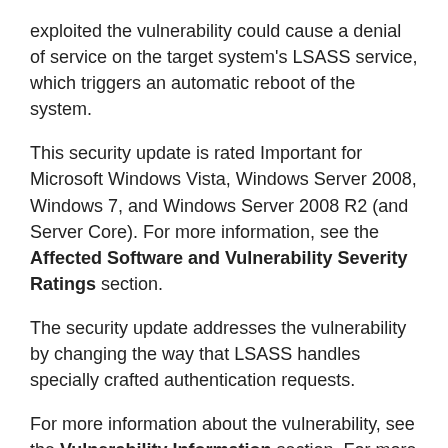exploited the vulnerability could cause a denial of service on the target system's LSASS service, which triggers an automatic reboot of the system.
This security update is rated Important for Microsoft Windows Vista, Windows Server 2008, Windows 7, and Windows Server 2008 R2 (and Server Core). For more information, see the Affected Software and Vulnerability Severity Ratings section.
The security update addresses the vulnerability by changing the way that LSASS handles specially crafted authentication requests.
For more information about the vulnerability, see the Vulnerability Information section. For more information about this update, see Microsoft Knowledge Base Article 3216771.